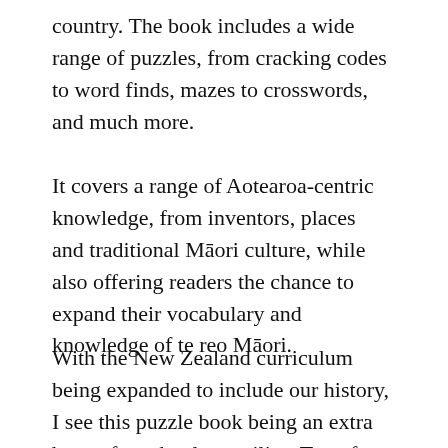country. The book includes a wide range of puzzles, from cracking codes to word finds, mazes to crosswords, and much more.
It covers a range of Aotearoa-centric knowledge, from inventors, places and traditional Māori culture, while also offering readers the chance to expand their vocabulary and knowledge of te reo Māori.
With the New Zealand curriculum being expanded to include our history, I see this puzzle book being an extra bonus for schools to utilise. Too often history is classified as boring or outdated, but this puzzle book can help build excitement